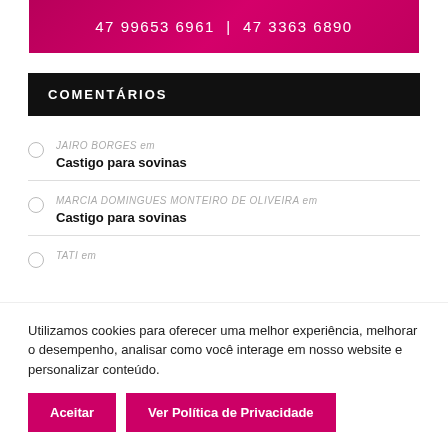[Figure (other): Pink/magenta gradient banner with phone numbers: 47 99653 6961 | 47 3363 6890]
COMENTÁRIOS
JAIRO BORGES em Castigo para sovinas
MARCIA DOMINGUES MONTEIRO DE OLIVEIRA em Castigo para sovinas
TATI em
Utilizamos cookies para oferecer uma melhor experiência, melhorar o desempenho, analisar como você interage em nosso website e personalizar conteúdo.
Aceitar | Ver Política de Privacidade